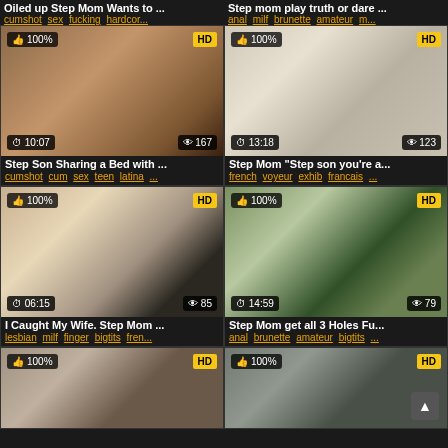Oiled up Step Mom Wants to ...
Step mom play truth or dare ...
cumshot sex fucking hardcor...
anal milf brunette amateur m...
[Figure (photo): Video thumbnail showing close-up skin, 10:07 duration, 167 views, 100% rating, HD]
[Figure (photo): Video thumbnail showing woman on couch, 13:18 duration, 123 views, 100% rating, HD]
Step Son Sharing a Bed with ...
Step Mom "Step son you're a...
cumshot cum sex teen latina ...
french voyeur exhib francais ...
[Figure (photo): Video thumbnail showing two women on bed, 06:15 duration, 85 views, 100% rating, HD]
[Figure (photo): Video thumbnail showing man and woman outdoors, 14:59 duration, 79 views, 100% rating, HD]
I Caught My Wife. Step Mom ...
Step Mom get all 3 Holes Fu...
lesbian milf finger bigtits fren...
anal brunette amateur bigtits ...
[Figure (photo): Video thumbnail bottom-left, 100% rating, HD]
[Figure (photo): Video thumbnail bottom-right, 100% rating, HD, scroll-to-top button visible]